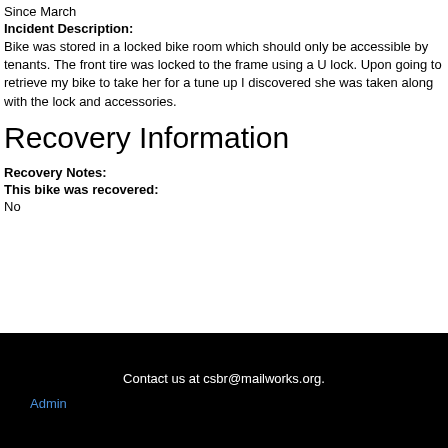Since March
Incident Description: Bike was stored in a locked bike room which should only be accessible by tenants. The front tire was locked to the frame using a U lock. Upon going to retrieve my bike to take her for a tune up I discovered she was taken along with the lock and accessories.
Recovery Information
Recovery Notes:
This bike was recovered:
No
Contact us at csbr@mailworks.org. Admin